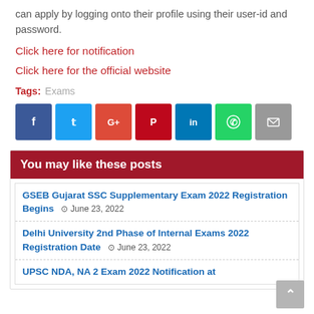can apply by logging onto their profile using their user-id and password.
Click here for notification
Click here for the official website
Tags: Exams
[Figure (infographic): Social media share buttons: Facebook, Twitter, Google+, Pinterest, LinkedIn, WhatsApp, Email]
You may like these posts
GSEB Gujarat SSC Supplementary Exam 2022 Registration Begins  June 23, 2022
Delhi University 2nd Phase of Internal Exams 2022 Registration Date  June 23, 2022
UPSC NDA, NA 2 Exam 2022 Notification at